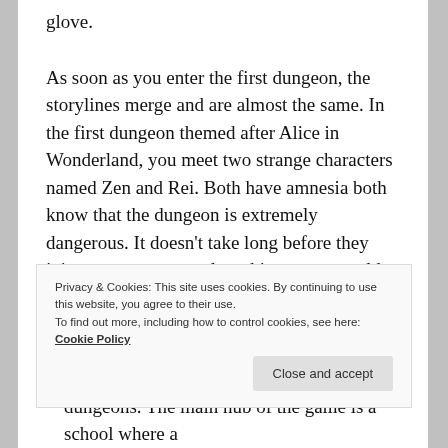glove.
As soon as you enter the first dungeon, the storylines merge and are almost the same. In the first dungeon themed after Alice in Wonderland, you meet two strange characters named Zen and Rei. Both have amnesia both know that the dungeon is extremely dangerous. It doesn't take long before they join your party to explore this strange world.
A world where the normal Persona rules are somewhat flipped on their head. Now, the hero lost their Joker ability which caused them to wield any Persona and now
Privacy & Cookies: This site uses cookies. By continuing to use this website, you agree to their use.
To find out more, including how to control cookies, see here: Cookie Policy
dungeons. The main hub of the game is a school where a